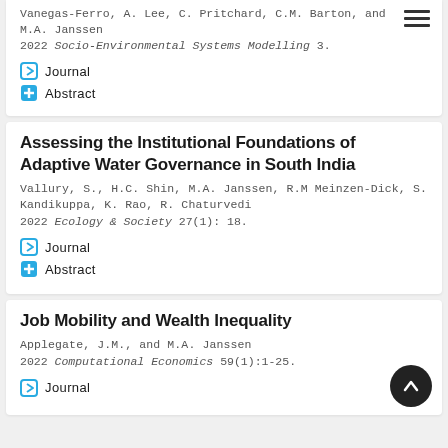Vanegas-Ferro, A. Lee, C. Pritchard, C.M. Barton, and M.A. Janssen
2022 Socio-Environmental Systems Modelling 3.
Journal
Abstract
Assessing the Institutional Foundations of Adaptive Water Governance in South India
Vallury, S., H.C. Shin, M.A. Janssen, R.M Meinzen-Dick, S. Kandikuppa, K. Rao, R. Chaturvedi
2022 Ecology & Society 27(1): 18.
Journal
Abstract
Job Mobility and Wealth Inequality
Applegate, J.M., and M.A. Janssen
2022 Computational Economics 59(1):1-25.
Journal